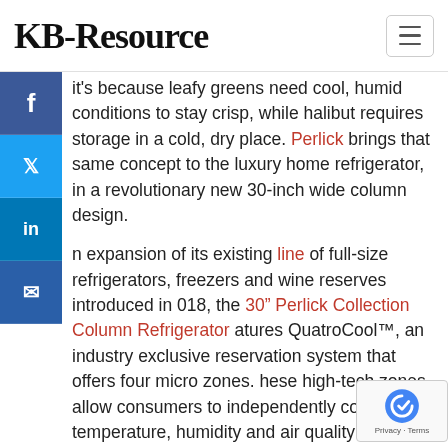KB-Resource
it's because leafy greens need cool, humid conditions to stay crisp, while halibut requires storage in a cold, dry place. Perlick brings that same concept to the luxury home refrigerator, in a revolutionary new 30-inch wide column design.
n expansion of its existing line of full-size refrigerators, freezers and wine reserves introduced in 018, the 30" Perlick Collection Column Refrigerator atures QuatroCool™, an industry exclusive reservation system that offers four micro zones. hese high-tech zones allow consumers to independently control temperature, humidity and air quality to accommodate a variety of foods. Unmatched preservation is possible with the following capabilities: electronically monitored real humidity, a dual-channel air filtration system and the ability to maintain